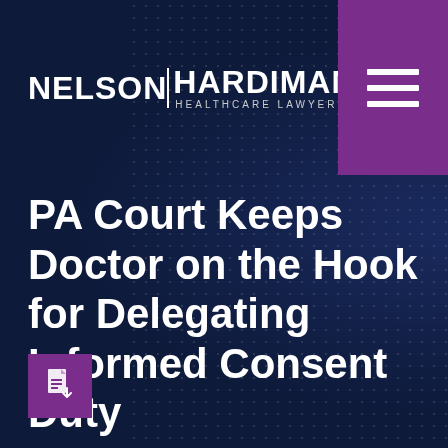[Figure (logo): Nelson Hardiman Healthcare Lawyers logo — white text on dark navy background]
[Figure (other): Purple hamburger menu icon block in top-right corner with three white horizontal lines]
PA Court Keeps Doctor on the Hook for Delegating Informed Consent Duty
[Figure (other): Purple square PDF document icon in bottom-left area]